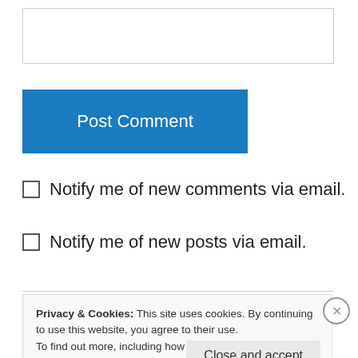[Figure (screenshot): Empty text input field with border]
[Figure (screenshot): Blue 'Post Comment' button]
Notify me of new comments via email.
Notify me of new posts via email.
Follow Blog via Email
Enter your email address to follow this blog and receive notifications of
Privacy & Cookies: This site uses cookies. By continuing to use this website, you agree to their use.
To find out more, including how to control cookies, see here: Cookie Policy